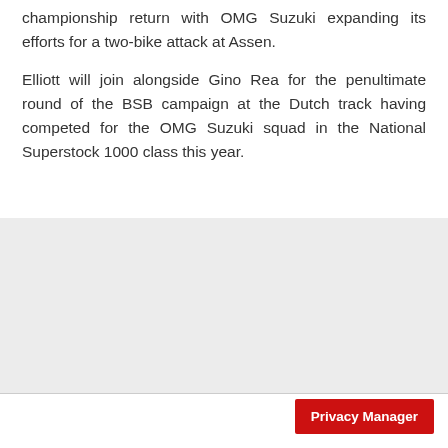championship return with OMG Suzuki expanding its efforts for a two-bike attack at Assen.
Elliott will join alongside Gino Rea for the penultimate round of the BSB campaign at the Dutch track having competed for the OMG Suzuki squad in the National Superstock 1000 class this year.
[Figure (other): Gray placeholder image box]
Privacy Manager